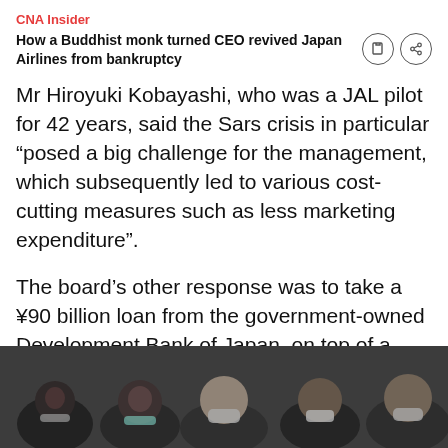CNA Insider
How a Buddhist monk turned CEO revived Japan Airlines from bankruptcy
Mr Hiroyuki Kobayashi, who was a JAL pilot for 42 years, said the Sars crisis in particular “posed a big challenge for the management, which subsequently led to various cost-cutting measures such as less marketing expenditure”.
The board’s other response was to take a ¥90 billion loan from the government-owned Development Bank of Japan, on top of a loan it received after the Sept 11 attacks, putting JAL’s debts at more than ¥240 billion.
[Figure (photo): Crowd of people wearing face masks, appears to be a news video still or press conference scene]